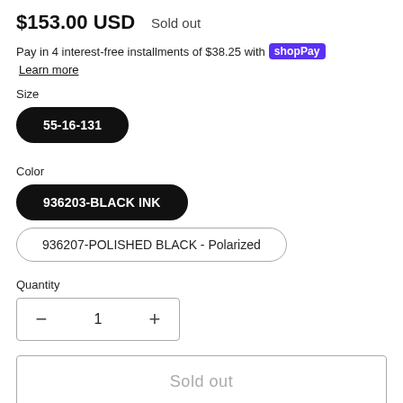$153.00 USD   Sold out
Pay in 4 interest-free installments of $38.25 with Shop Pay   Learn more
Size
55-16-131
Color
936203-BLACK INK
936207-POLISHED BLACK - Polarized
Quantity
1
Sold out